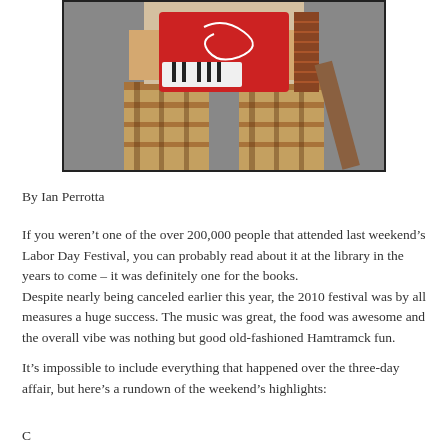[Figure (photo): A person playing a red accordion, wearing plaid pants, photographed from the torso down on a street surface.]
By Ian Perrotta
If you weren't one of the over 200,000 people that attended last weekend's Labor Day Festival, you can probably read about it at the library in the years to come – it was definitely one for the books.
Despite nearly being canceled earlier this year, the 2010 festival was by all measures a huge success. The music was great, the food was awesome and the overall vibe was nothing but good old-fashioned Hamtramck fun.
It's impossible to include everything that happened over the three-day affair, but here's a rundown of the weekend's highlights: